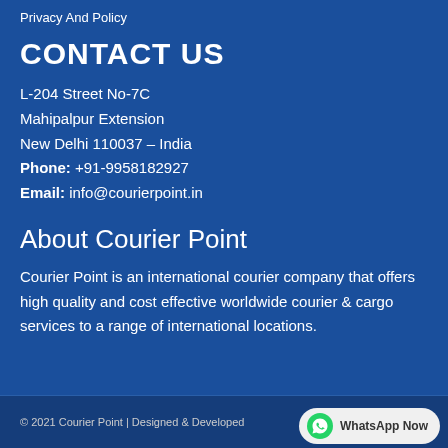Privacy And Policy
CONTACT US
L-204 Street No-7C
Mahipalpur Extension
New Delhi 110037 – India
Phone: +91-9958182927
Email: info@courierpoint.in
About Courier Point
Courier Point is an international courier company that offers high quality and cost effective worldwide courier & cargo services to a range of international locations.
© 2021 Courier Point | Designed & Developed